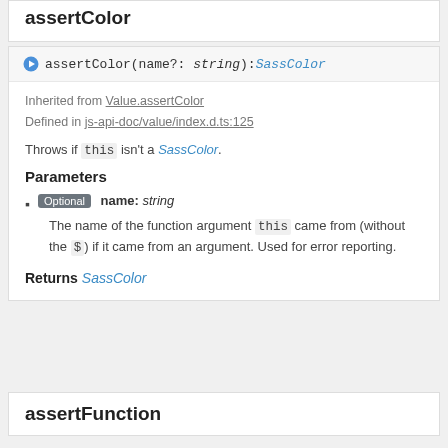assertColor
assertColor(name?: string): SassColor
Inherited from Value.assertColor
Defined in js-api-doc/value/index.d.ts:125
Throws if this isn't a SassColor.
Parameters
Optional name: string
The name of the function argument this came from (without the $) if it came from an argument. Used for error reporting.
Returns SassColor
assertFunction